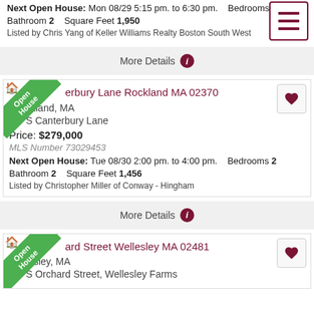Next Open House: Mon 08/29 5:15 pm. to 6:30 pm.   Bedrooms 4
Bathroom 2   Square Feet 1,950
Listed by Chris Yang of Keller Williams Realty Boston South West
More Details
Canterbury Lane Rockland MA 02370
Rockland, MA
5 Canterbury Lane
Price: $279,000
MLS Number 73029453
Next Open House: Tue 08/30 2:00 pm. to 4:00 pm.   Bedrooms 2
Bathroom 2   Square Feet 1,456
Listed by Christopher Miller of Conway - Hingham
More Details
Orchard Street Wellesley MA 02481
Wellesley, MA
5 Orchard Street, Wellesley Farms